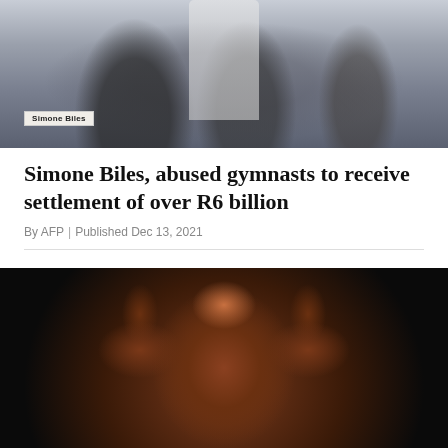[Figure (photo): Photo of Simone Biles at a hearing table with a name placard reading 'Simone Biles', with people seated and standing behind her in a formal hearing room setting.]
Simone Biles, abused gymnasts to receive settlement of over R6 billion
By AFP | Published Dec 13, 2021
[Figure (photo): Photo of a male bodybuilder posing with both arms flexed in a double bicep pose against a dark/black background, with muscles highlighted under stage lighting.]